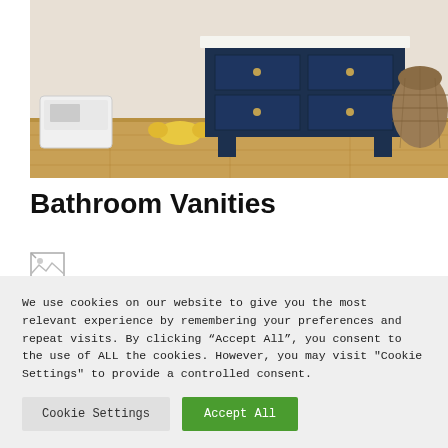[Figure (photo): Bathroom vanity scene showing a navy blue dresser/vanity with multiple drawers on a wooden floor, with a white scale on the left, a yellow toy, and a wicker basket on the right.]
Bathroom Vanities
[Figure (photo): Broken/missing image placeholder icon]
We use cookies on our website to give you the most relevant experience by remembering your preferences and repeat visits. By clicking “Accept All”, you consent to the use of ALL the cookies. However, you may visit "Cookie Settings" to provide a controlled consent.